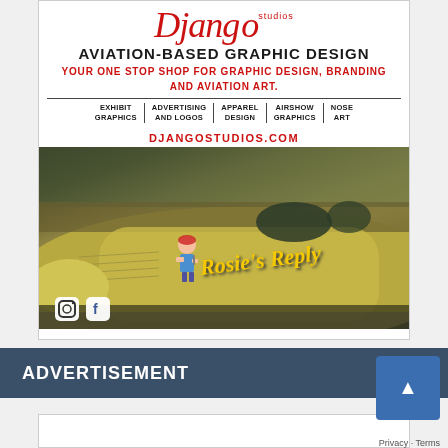[Figure (photo): Django Studios advertisement: Aviation-based graphic design studio ad featuring a WWII bomber nose art photo with 'Rosie's Reply' text, services list, website URL djangostudios.com, and social media icons for Instagram and Facebook.]
ADVERTISEMENT